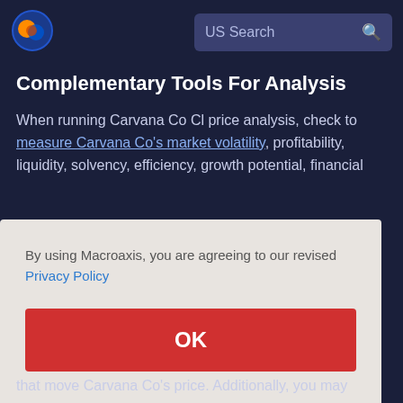[Figure (logo): Macroaxis globe logo with orange and blue colors]
US Search
Complementary Tools For Analysis
When running Carvana Co Cl price analysis, check to measure Carvana Co's market volatility, profitability, liquidity, solvency, efficiency, growth potential, financial different arvana Co's sent s future t its actors that move Carvana Co's price. Additionally, you may
By using Macroaxis, you are agreeing to our revised Privacy Policy
OK